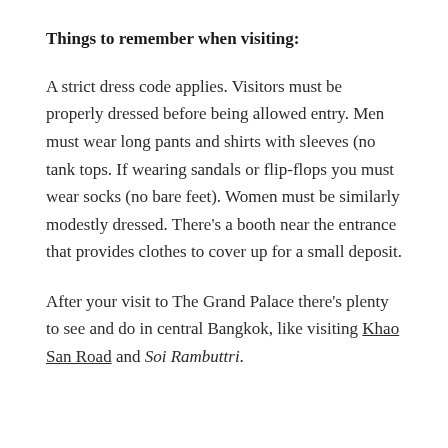Things to remember when visiting:
A strict dress code applies. Visitors must be properly dressed before being allowed entry. Men must wear long pants and shirts with sleeves (no tank tops. If wearing sandals or flip-flops you must wear socks (no bare feet). Women must be similarly modestly dressed. There's a booth near the entrance that provides clothes to cover up for a small deposit.
After your visit to The Grand Palace there's plenty to see and do in central Bangkok, like visiting Khao San Road and Soi Rambuttri.